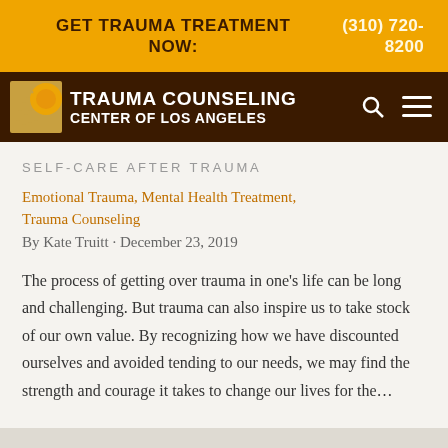GET TRAUMA TREATMENT NOW:   (310) 720-8200
[Figure (logo): Trauma Counseling Center of Los Angeles logo with sun/circle graphic and organization name in white text on dark brown navigation bar]
SELF-CARE AFTER TRAUMA
Emotional Trauma, Mental Health Treatment, Trauma Counseling
By Kate Truitt · December 23, 2019
The process of getting over trauma in one's life can be long and challenging. But trauma can also inspire us to take stock of our own value. By recognizing how we have discounted ourselves and avoided tending to our needs, we may find the strength and courage it takes to change our lives for the...